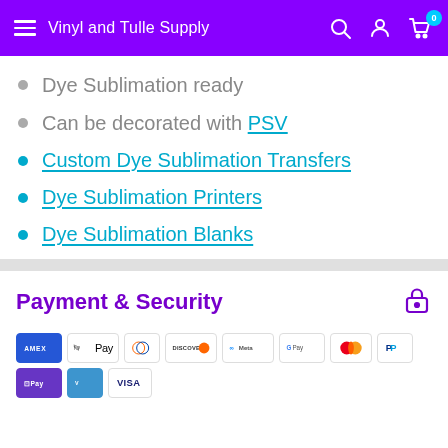Vinyl and Tulle Supply
Dye Sublimation ready
Can be decorated with PSV
Custom Dye Sublimation Transfers
Dye Sublimation Printers
Dye Sublimation Blanks
Payment & Security
[Figure (other): Payment method logos: AMEX, Apple Pay, Diners Club, Discover, Meta Pay, Google Pay, Mastercard, PayPal, OPay, Venmo, Visa]